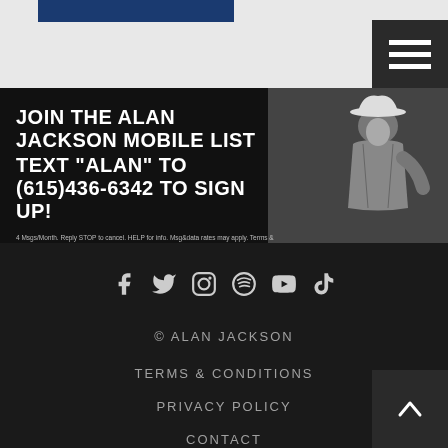[Figure (screenshot): Header bar with search box and hamburger menu button]
[Figure (infographic): Alan Jackson mobile list signup banner: JOIN THE ALAN JACKSON MOBILE LIST TEXT 'ALAN' TO (615)436-6342 TO SIGN UP! with photo of Alan Jackson in white hat]
[Figure (infographic): Social media icons: Facebook, Twitter, Instagram, Spotify, YouTube, TikTok]
© ALAN JACKSON
TERMS & CONDITIONS
PRIVACY POLICY
CONTACT
[Figure (logo): BubbleUp logo circle with text POWERED BY BubbleUp below]
[Figure (other): Scroll to top button with upward chevron arrow]